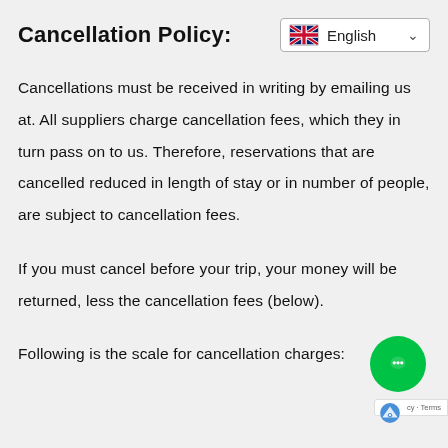Cancellation Policy:
Cancellations must be received in writing by emailing us at. All suppliers charge cancellation fees, which they in turn pass on to us. Therefore, reservations that are cancelled reduced in length of stay or in number of people, are subject to cancellation fees.
If you must cancel before your trip, your money will be returned, less the cancellation fees (below).
Following is the scale for cancellation charges: